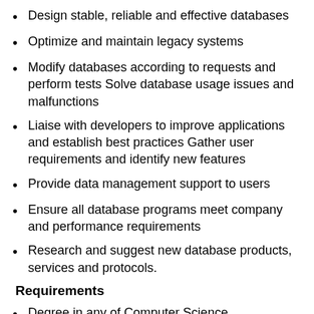Design stable, reliable and effective databases
Optimize and maintain legacy systems
Modify databases according to requests and perform tests Solve database usage issues and malfunctions
Liaise with developers to improve applications and establish best practices Gather user requirements and identify new features
Provide data management support to users
Ensure all database programs meet company and performance requirements
Research and suggest new database products, services and protocols.
Requirements
Degree in any of Computer Science,